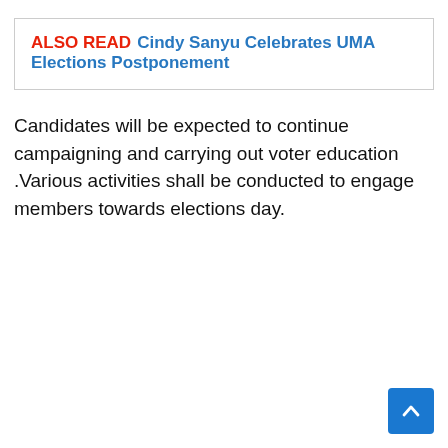ALSO READ  Cindy Sanyu Celebrates UMA Elections Postponement
Candidates will be expected to continue campaigning and carrying out voter education .Various activities shall be conducted to engage members towards elections day.